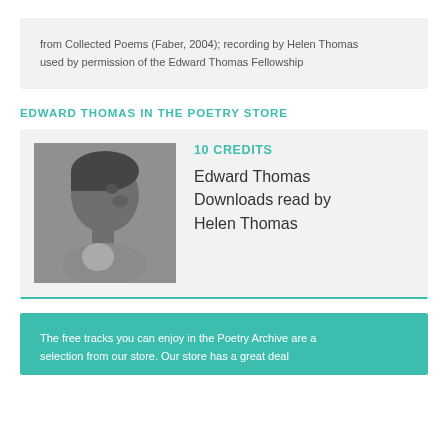from Collected Poems (Faber, 2004); recording by Helen Thomas used by permission of the Edward Thomas Fellowship
EDWARD THOMAS IN THE POETRY STORE
[Figure (photo): Black and white profile photograph of Edward Thomas, a young man in side profile facing left]
10 CREDITS
Edward Thomas Downloads read by Helen Thomas
The free tracks you can enjoy in the Poetry Archive are a selection from our store. Our store has a great deal